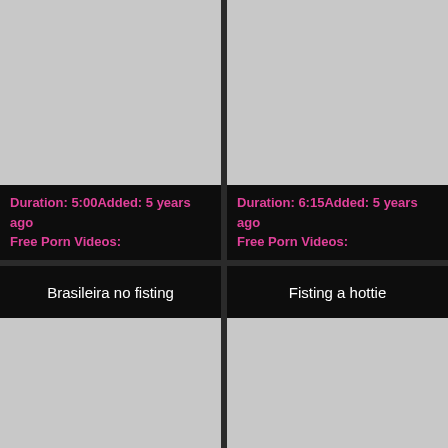[Figure (photo): Gray thumbnail placeholder, top left]
[Figure (photo): Gray thumbnail placeholder, top right]
Duration: 5:00Added: 5 years ago
Free Porn Videos:
Duration: 6:15Added: 5 years ago
Free Porn Videos:
Brasileira no fisting
Fisting a hottie
[Figure (photo): Gray thumbnail placeholder, bottom left]
[Figure (photo): Gray thumbnail placeholder, bottom right]